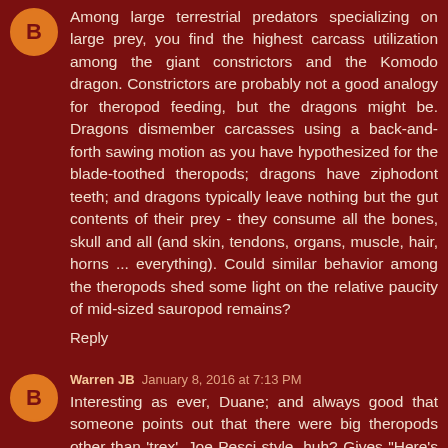Among large terrestrial predators specializing on large prey, you find the highest carcass utilization among the giant constrictors and the Komodo dragon. Constrictors are probably not a good analogy for theropod feeding, but the dragons might be. Dragons dismember carcasses using a back-and-forth sawing motion as you have hypothesized for the blade-toothed theropods; dragons have ziphodont teeth; and dragons typically leave nothing but the gut contents of their prey - they consume all the bones, skull and all (and skin, tendons, organs, muscle, hair, horns ... everything). Could similar behavior among the theropods shed some light on the relative paucity of mid-sized sauropod remains?
Reply
Warren JB  January 8, 2016 at 7:13 PM
Interesting as ever, Duane; and always good that someone points out that there were big theropods other than 'trex'. Joe Pesci style, huh? Gives "Here's an arm. Here's a leg. Here's a wing!" an extra layer.